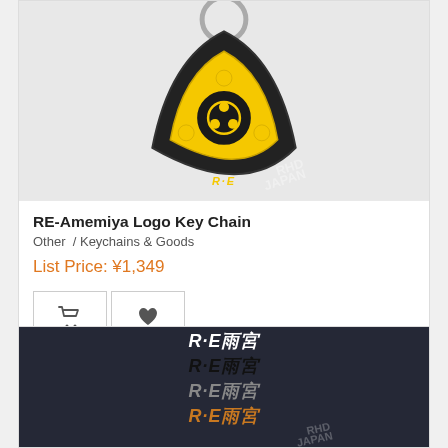[Figure (photo): RE-Amemiya logo keychain with yellow and black rotary/biohazard design on a silver keyring, shown on white background with RHD Japan watermark]
RE-Amemiya Logo Key Chain
Other / Keychains & Goods
List Price: ¥1,349
[Figure (photo): RE-Amemiya stickers in four color variants: white, black, silver/grey, and orange/gold, displayed on a dark navy blue background with RHD Japan watermark]